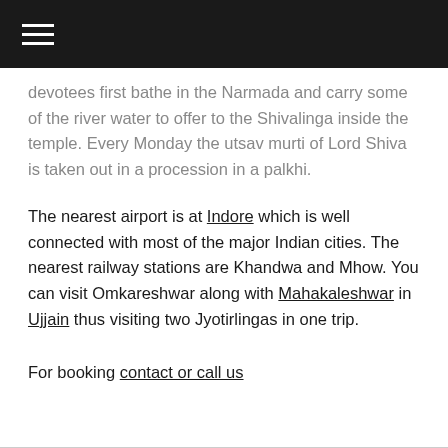≡
devotees first bathe in the Narmada and carry some of the river water to offer to the Shivalinga inside the temple. Every Monday the utsav murti of Lord Shiva is taken out in a procession in a palkhi.
The nearest airport is at Indore which is well connected with most of the major Indian cities. The nearest railway stations are Khandwa and Mhow. You can visit Omkareshwar along with Mahakaleshwar in Ujjain thus visiting two Jyotirlingas in one trip.
For booking contact or call us